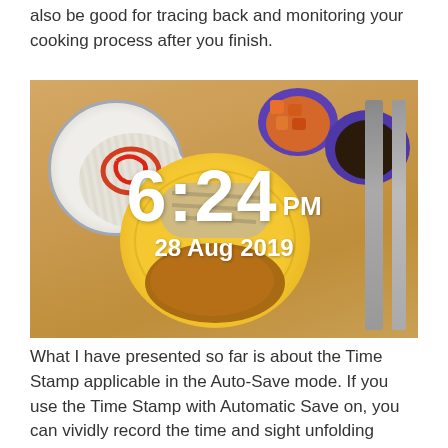also be good for tracing back and monitoring your cooking process after you finish.
[Figure (photo): A photo of a meal on a wooden table showing a blue-rimmed plate with white noodles and ketchup, two purple bowls (one with orange food, one with dark sauce), a yellow plate with sliced chicken and a cheesy piece, and cutlery, overlaid with a white timestamp reading 6:24 PM, 28 Aug 2019.]
What I have presented so far is about the Time Stamp applicable in the Auto-Save mode. If you use the Time Stamp with Automatic Save on, you can vividly record the time and sight unfolding